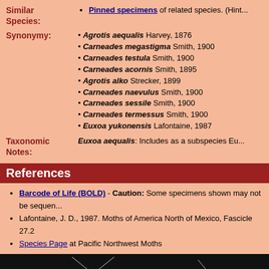Similar Species: • Pinned specimens of related species. (Hint...)
Agrotis aequalis Harvey, 1876
Carneades megastigma Smith, 1900
Carneades testula Smith, 1900
Carneades acornis Smith, 1895
Agrotis alko Strecker, 1899
Carneades naevulus Smith, 1900
Carneades sessile Smith, 1900
Carneades termessus Smith, 1900
Euxoa yukonensis Lafontaine, 1987
Taxonomic Notes: Euxoa aequalis: Includes as a subspecies Eu...
References
Barcode of Life (BOLD) - Caution: Some specimens shown may not be sequenced...
Lafontaine, J. D., 1987. Moths of America North of Mexico, Fascicle 27.2
Species Page at Pacific Northwest Moths
[Figure (photo): Two photographs of pinned moth specimens (Euxoa aequalis) on black background. Left image shows moth from above with wings spread. Right image shows partially visible moth specimen.]